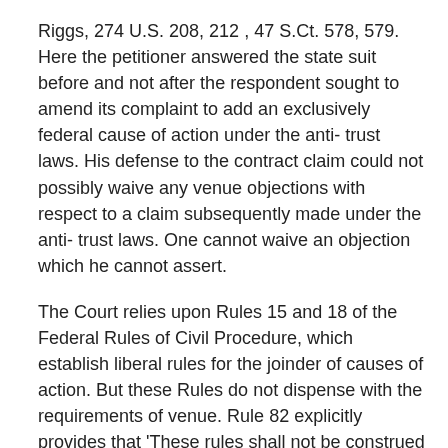Riggs, 274 U.S. 208, 212 , 47 S.Ct. 578, 579. Here the petitioner answered the state suit before and not after the respondent sought to amend its complaint to add an exclusively federal cause of action under the anti- trust laws. His defense to the contract claim could not possibly waive any venue objections with respect to a claim subsequently made under the anti- trust laws. One cannot waive an objection which he cannot assert.
The Court relies upon Rules 15 and 18 of the Federal Rules of Civil Procedure, which establish liberal rules for the joinder of causes of action. But these Rules do not dispense with the requirements of venue. Rule 82 explicitly provides that 'These rules shall not be construed to extend or limit the jurisdiction of the district courts of the United States or the venue of actions therein.' Because causes of action could be joined, if properly brought, does not prove that they are properly brought. A liberal rule regarding joinder of actions